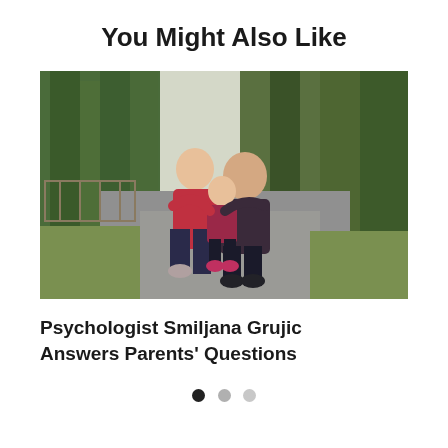You Might Also Like
[Figure (photo): A family scene outdoors on a road surrounded by trees. A woman in a red jacket and a man in a dark shirt embrace a small child between them, all crouching or leaning in for a group hug on a paved path in a park-like setting.]
Psychologist Smiljana Grujic Answers Parents' Questions